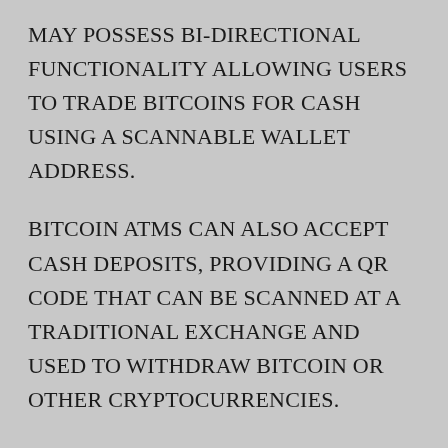MAY POSSESS BI-DIRECTIONAL FUNCTIONALITY ALLOWING USERS TO TRADE BITCOINS FOR CASH USING A SCANNABLE WALLET ADDRESS.
BITCOIN ATMS CAN ALSO ACCEPT CASH DEPOSITS, PROVIDING A QR CODE THAT CAN BE SCANNED AT A TRADITIONAL EXCHANGE AND USED TO WITHDRAW BITCOIN OR OTHER CRYPTOCURRENCIES.
REGULATIONS USED BY FINANCIAL INSTITUTIONS TO OBTAIN A RECORD OF CUSTOMERS AND TRANSACTIONS FOR THESE MACHINES VARY BY COUNTRY AND ARE  POORLY